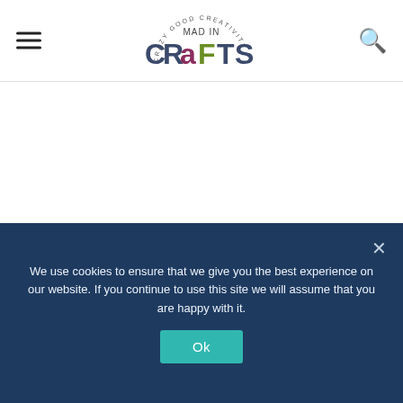[Figure (logo): Mad in Crafts logo with circular text 'CRAZY GOOD CREATIVITY' and colorful 'CRaFTS' lettering below]
When you do your shopping for this craft project, you
We use cookies to ensure that we give you the best experience on our website. If you continue to use this site we will assume that you are happy with it.